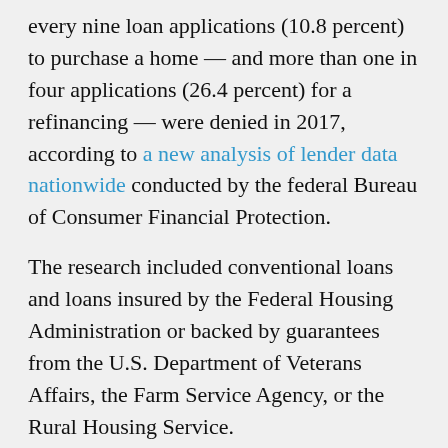every nine loan applications (10.8 percent) to purchase a home — and more than one in four applications (26.4 percent) for a refinancing — were denied in 2017, according to a new analysis of lender data nationwide conducted by the federal Bureau of Consumer Financial Protection.
The research included conventional loans and loans insured by the Federal Housing Administration or backed by guarantees from the U.S. Department of Veterans Affairs, the Farm Service Agency, or the Rural Housing Service.
But another report, The Senior Loan Officer Opinion Survey on Bank Lending Practices, showed that the recent easing